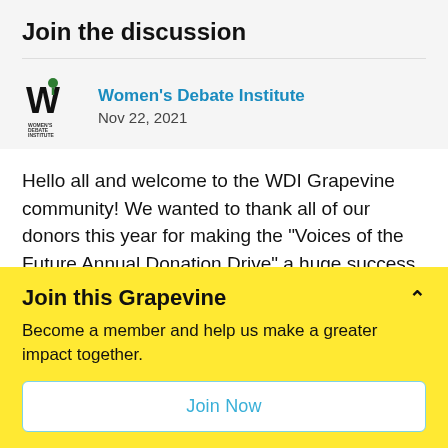Join the discussion
Women's Debate Institute
Nov 22, 2021
Hello all and welcome to the WDI Grapevine community! We wanted to thank all of our donors this year for making the "Voices of the Future Annual Donation Drive" a huge success. Between Facebook, Flipcause, and checks we managed to raise over
Join this Grapevine
Become a member and help us make a greater impact together.
Join Now